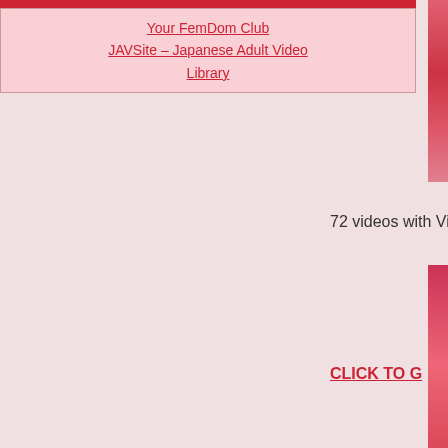Your FemDom Club
JAVSite – Japanese Adult Video Library
72 videos with Vi
CLICK TO G
[Figure (photo): Partially cropped image on right edge of page, top section]
[Figure (photo): Partially cropped image on right edge of page, middle section]
[Figure (photo): Partially cropped image on right edge of page, bottom section]